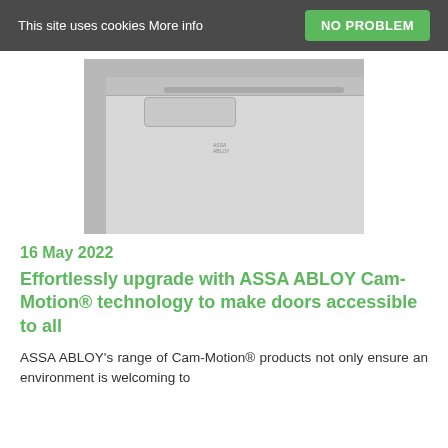This site uses cookies More info  NO PROBLEM
[Figure (photo): ASSA ABLOY door closer product mounted on a door frame, showing a sliding arm rail and closer body unit on a grey door panel with a white interior]
16 May 2022
Effortlessly upgrade with ASSA ABLOY Cam-Motion® technology to make doors accessible to all
ASSA ABLOY's range of Cam-Motion® products not only ensure an environment is welcoming to